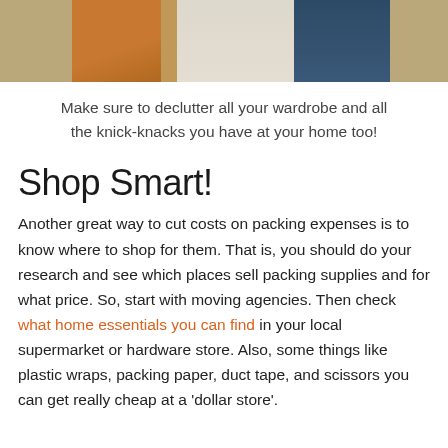[Figure (photo): Photo of folded clothes — orange/mustard fabric on the left, blue jeans on the right, arranged on a patterned surface]
Make sure to declutter all your wardrobe and all the knick-knacks you have at your home too!
Shop Smart!
Another great way to cut costs on packing expenses is to know where to shop for them. That is, you should do your research and see which places sell packing supplies and for what price. So, start with moving agencies. Then check what home essentials you can find in your local supermarket or hardware store. Also, some things like plastic wraps, packing paper, duct tape, and scissors you can get really cheap at a 'dollar store'.